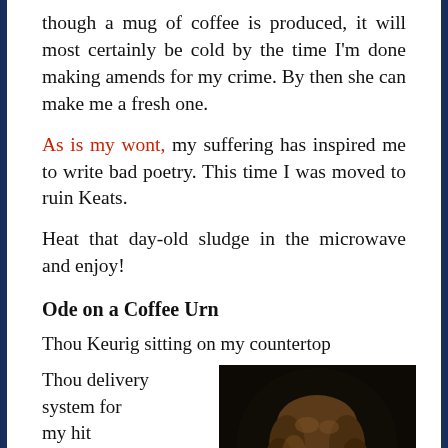though a mug of coffee is produced, it will most certainly be cold by the time I'm done making amends for my crime. By then she can make me a fresh one.
As is my wont, my suffering has inspired me to write bad poetry. This time I was moved to ruin Keats.
Heat that day-old sludge in the microwave and enjoy!
Ode on a Coffee Urn
Thou Keurig sitting on my countertop
Thou delivery system for my hit
[Figure (photo): Portrait painting of a young man with curly brown hair against a dark background, likely John Keats]
What obstacle 'tis this,